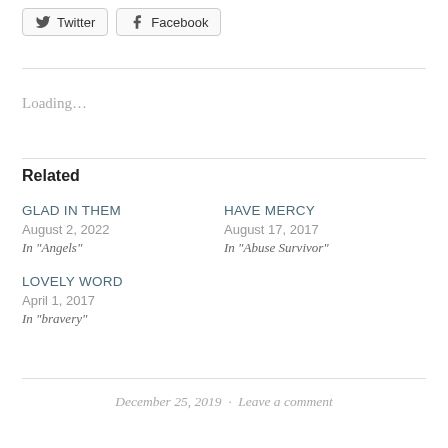[Figure (other): Twitter and Facebook share buttons]
Loading…
Related
GLAD IN THEM
August 2, 2022
In "Angels"
HAVE MERCY
August 17, 2017
In "Abuse Survivor"
LOVELY WORD
April 1, 2017
In "bravery"
December 25, 2019  ·  Leave a comment